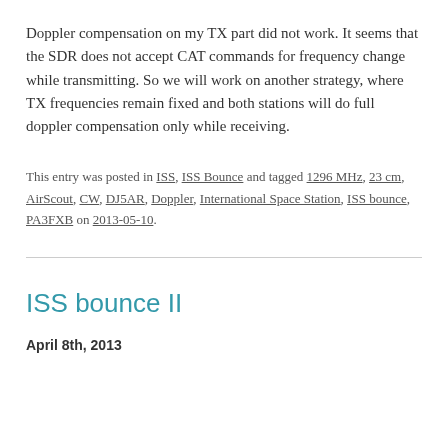Doppler compensation on my TX part did not work. It seems that the SDR does not accept CAT commands for frequency change while transmitting. So we will work on another strategy, where TX frequencies remain fixed and both stations will do full doppler compensation only while receiving.
This entry was posted in ISS, ISS Bounce and tagged 1296 MHz, 23 cm, AirScout, CW, DJ5AR, Doppler, International Space Station, ISS bounce, PA3FXB on 2013-05-10.
ISS bounce II
April 8th, 2013